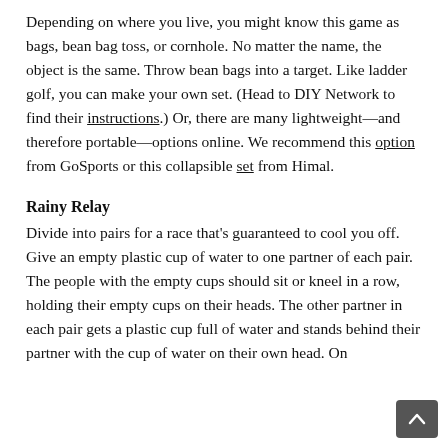Depending on where you live, you might know this game as bags, bean bag toss, or cornhole. No matter the name, the object is the same. Throw bean bags into a target. Like ladder golf, you can make your own set. (Head to DIY Network to find their instructions.) Or, there are many lightweight—and therefore portable—options online. We recommend this option from GoSports or this collapsible set from Himal.
Rainy Relay
Divide into pairs for a race that's guaranteed to cool you off. Give an empty plastic cup of water to one partner of each pair. The people with the empty cups should sit or kneel in a row, holding their empty cups on their heads. The other partner in each pair gets a plastic cup full of water and stands behind their partner with the cup of water on their own head. On